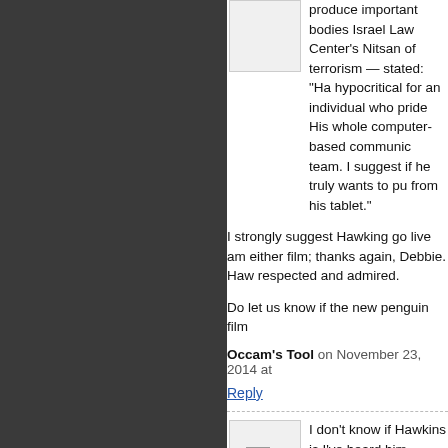produce important bodies... Israel Law Center's Nitsan... of terrorism — stated: "Ha... hypocritical for an individual who pride... His whole computer-based communic... team. I suggest if he truly wants to pu... from his tablet."
I strongly suggest Hawking go live am... either film; thanks again, Debbie. Haw... respected and admired.
Do let us know if the new penguin film...
Occam's Tool on November 23, 2014 at
Reply
I don't know if Hawkins is... I've heard him described o... I'm not sure if that was en... Maybe he's moved furthe... effort to stay relevant.